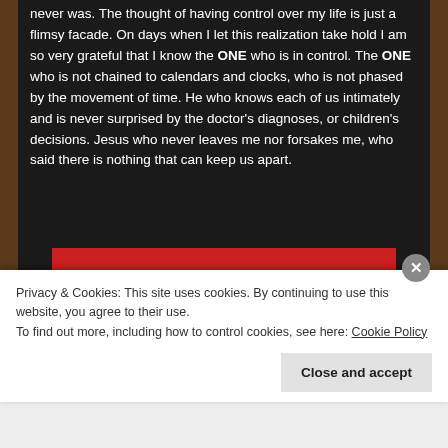never was. The thought of having control over my life is just a flimsy facade. On days when I let this realization take hold I am so very grateful that I know the ONE who is in control. The ONE who is not chained to calendars and clocks, who is not phased by the movement of time. He who knows each of us intimately and is never surprised by the doctor's diagnoses, or children's decisions. Jesus who never leaves me nor forsakes me, who said there is nothing that can keep us apart.
[Figure (screenshot): Red banner with white italic text reading 'the web ours, and everyone else's.' and a black 'Start reading' button]
Privacy & Cookies: This site uses cookies. By continuing to use this website, you agree to their use.
To find out more, including how to control cookies, see here: Cookie Policy
Close and accept